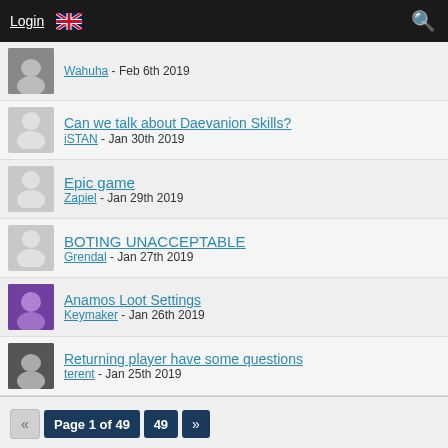Login | [UK flag] | [Search icon]
Wahuha - Feb 6th 2019
Can we talk about Daevanion Skills? | iSTAN - Jan 30th 2019
Epic game | Zapiel - Jan 29th 2019
BOTING UNACCEPTABLE | Grendal - Jan 27th 2019
Anamos Loot Settings | Keymaker - Jan 26th 2019
Returning player have some questions | terent - Jan 25th 2019
Page 1 of 49 | 49 | »
Users Online 1
1 Guest